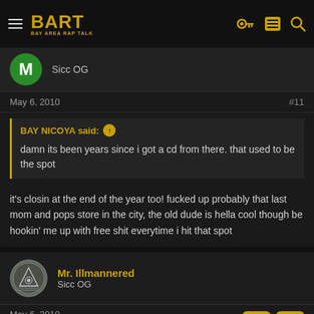[Figure (logo): BART (Bay Area Rap Talk) forum header with hamburger menu, logo, and icons]
M
Sicc OG
May 6, 2010
#11
BAY NICOYA said: ↑
damn its been years since i got a cd from there. that used to be the spot
it's closin at the end of the year too! fucked up probably that last mom and pops store in the city, the old dude is hella cool though be hookin' me up with free shit everytime i hit that spot
Mr. Illmannered
Sicc OG
May 6, 2010
Joe is the man. Very sad to hear Creative is closing, truly shows how dead